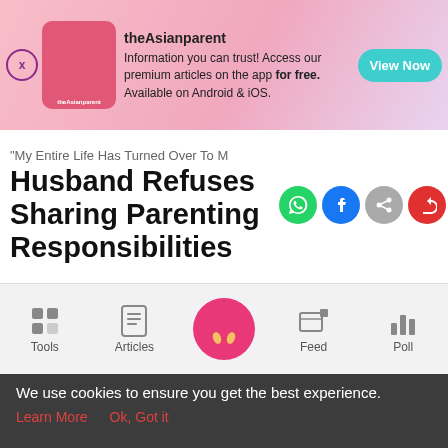[Figure (screenshot): theAsianparent app advertisement banner with pink gradient background, logo, and 'View Now' teal button]
"My Entire Life Has Turned Over To M Husband Refuses Sharing Parenting Responsibilities
[Figure (infographic): Social share icons: WhatsApp (green), Facebook (blue), link (gray), share (red)]
Written by thparentingyou 18 hours ago
SAHM or single mom
Advice
So please bear with me as this will be long. I've been a SAHM since my son was born. My son will be 2 in July. Since he's been born my entire life has turned over to motherhood. I have no friends anymore,
[Figure (infographic): Bottom navigation bar with Tools, Articles, home (pink circle with footprints), Feed, and Poll icons]
We use cookies to ensure you get the best experience.
Learn More   Ok, Got it